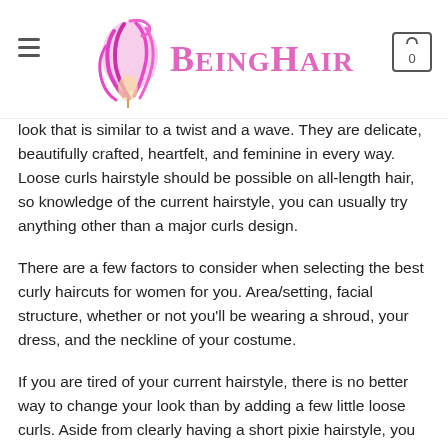BeingHair
look that is similar to a twist and a wave. They are delicate, beautifully crafted, heartfelt, and feminine in every way. Loose curls hairstyle should be possible on all-length hair, so knowledge of the current hairstyle, you can usually try anything other than a major curls design.
There are a few factors to consider when selecting the best curly haircuts for women for you. Area/setting, facial structure, whether or not you'll be wearing a shroud, your dress, and the neckline of your costume.
If you are tired of your current hairstyle, there is no better way to change your look than by adding a few little loose curls. Aside from clearly having a short pixie hairstyle, you can use free subplots with any long hair. The beachy way is one you should try this summer.